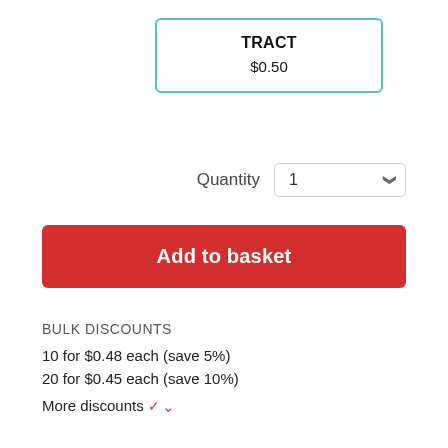TRACT
$0.50
Quantity  1
Add to basket
BULK DISCOUNTS
10 for $0.48 each (save 5%)
20 for $0.45 each (save 10%)
More discounts ∨